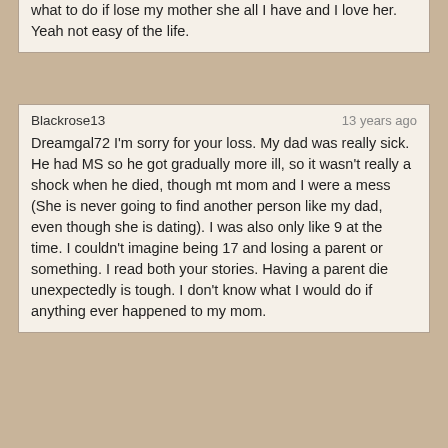what to do if lose my mother she all I have and I love her. Yeah not easy of the life.
Blackrose13 | 13 years ago
Dreamgal72 I'm sorry for your loss. My dad was really sick. He had MS so he got gradually more ill, so it wasn't really a shock when he died, though mt mom and I were a mess (She is never going to find another person like my dad, even though she is dating). I was also only like 9 at the time. I couldn't imagine being 17 and losing a parent or something. I read both your stories. Having a parent die unexpectedly is tough. I don't know what I would do if anything ever happened to my mom.
Blackrose13 | 13 years ago
It's good that he visited. He was actually around a few days ago as well. He was really sick with MS before he died, and couldn't walk. Maybe in the afterlife he was able to gain back his movement! That's what I like to think anyway ♥ 😊
dreamergal72 | 13 years ago
Hi Blackrose13, I agree with mickeymalice I too lost my daddy